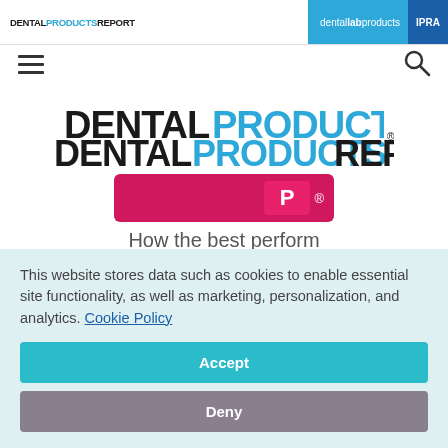DENTAL PRODUCTS REPORT | dental lab products | IPRA
[Figure (logo): Dental Products Report logo with DENTAL in black, PRODUCTS in blue, REPORT in black]
[Figure (illustration): Pink/crimson brand logo bar with tagline 'How the best perform']
This website stores data such as cookies to enable essential site functionality, as well as marketing, personalization, and analytics. Cookie Policy
Accept
Deny